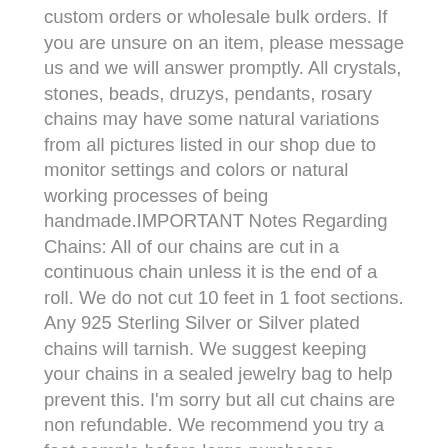custom orders or wholesale bulk orders. If you are unsure on an item, please message us and we will answer promptly. All crystals, stones, beads, druzys, pendants, rosary chains may have some natural variations from all pictures listed in our shop due to monitor settings and colors or natural working processes of being handmade.IMPORTANT Notes Regarding Chains: All of our chains are cut in a continuous chain unless it is the end of a roll. We do not cut 10 feet in 1 foot sections. Any 925 Sterling Silver or Silver plated chains will tarnish. We suggest keeping your chains in a sealed jewelry bag to help prevent this. I'm sorry but all cut chains are non refundable. We recommend you try a foot sample before large purchases. Stainless steel chains come in gold or silver and are known for their non tarnishing properties. We don't control the colors, where gold may be applied on tight weave or small chains. All of our 14 K Gold Filled chains, charms, or findings are Genuine 14/20 Gold Filled. To be called gold filled by